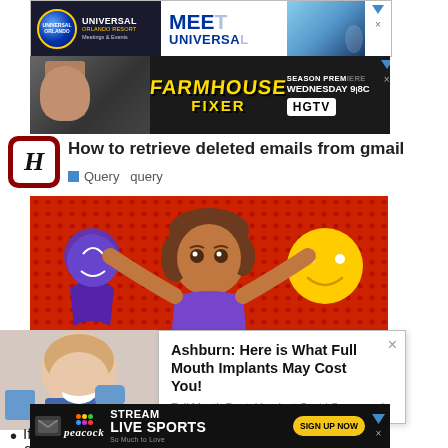[Figure (screenshot): Universal Orlando Resort Meetings & Events advertisement banner]
[Figure (screenshot): HGTV Farmhouse Fixer Season Premiere Wednesday 9/8C advertisement banner]
How to retrieve deleted emails from gmail
Query  query
[Figure (illustration): Illustration of a woman holding up emoji faces, purple outfit, on red dotted background]
You can recover deleted text messages on your iPhone
[Figure (photo): Photo of woman smiling at dental office]
[Figure (screenshot): Ashburn: Here is What Full Mouth Implants May Cost You! advertisement popup - Full Mouth Dental Implant Cost | Sponsored]
If a… as they ca…
[Figure (screenshot): Peacock Stream Live Sports Sign Up Now advertisement banner]